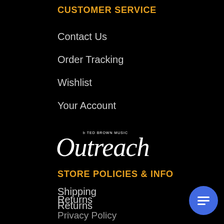CUSTOMER SERVICE
Contact Us
Order Tracking
Wishlist
Your Account
[Figure (logo): Outreach by Ted Brown Music logo in white script on black background]
STORE POLICIES & INFO
Shipping
Returns
Privacy Policy
Security